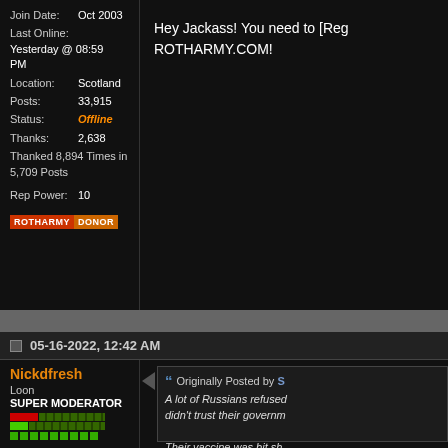Join Date: Oct 2003
Last Online: Yesterday @ 08:59 PM
Location: Scotland
Posts: 33,915
Status: Offline
Thanks: 2,638
Thanked 8,894 Times in 5,709 Posts
Rep Power: 10
[Figure (screenshot): ROTHARMY DONOR badge]
Hey Jackass! You need to [Reg ROTHARMY.COM!
05-16-2022, 12:42 AM
Nickdfresh
Loon
SUPER MODERATOR
Originally Posted by S
A lot of Russians refused didn't trust their governm
Their vaccine was bit sh ones but much better tha that lying politicians has someone says politicians blah no shit Sherlock bu